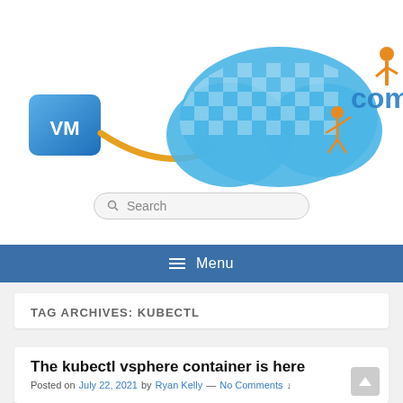[Figure (illustration): Website header illustration: a blue VM icon connected via orange cable to a blue cloud with checkered pattern, and orange figures constructing the word 'com' in blue 3D letters]
Search
≡  Menu
TAG ARCHIVES: KUBECTL
The kubectl vsphere container is here
Posted on July 22, 2021 by Ryan Kelly — No Comments ↓